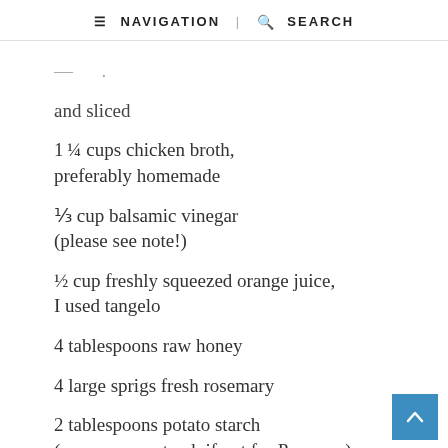≡ NAVIGATION | 🔍 SEARCH
and sliced
1¼ cups chicken broth, preferably homemade
⅓ cup balsamic vinegar (please see note!)
½ cup freshly squeezed orange juice, I used tangelo
4 tablespoons raw honey
4 large sprigs fresh rosemary
2 tablespoons potato starch (can use cornstarch if not for Passover)